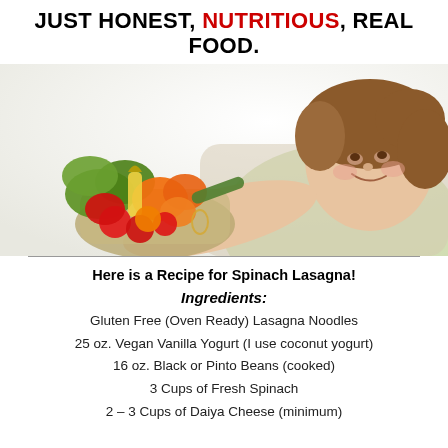Just honest, NUTRITIOUS, real food.
[Figure (photo): Young girl smiling and holding a bowl of colorful fresh vegetables including tomatoes, corn, peppers, and greens]
Here is a Recipe for Spinach Lasagna!
Ingredients:
Gluten Free (Oven Ready) Lasagna Noodles
25 oz. Vegan Vanilla Yogurt (I use coconut yogurt)
16 oz. Black or Pinto Beans (cooked)
3 Cups of Fresh Spinach
2 – 3 Cups of Daiya Cheese (minimum)